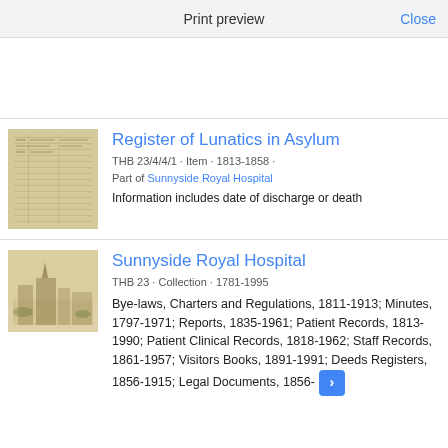Print preview   Close
Register of Lunatics in Asylum
THB 23/4/4/1 · Item · 1813-1858 · Part of Sunnyside Royal Hospital
Information includes date of discharge or death
Sunnyside Royal Hospital
THB 23 · Collection · 1781-1995
Bye-laws, Charters and Regulations, 1811-1913; Minutes, 1797-1971; Reports, 1835-1961; Patient Records, 1813-1990; Patient Clinical Records, 1818-1962; Staff Records, 1861-1957; Visitors Books, 1891-1991; Deeds Registers, 1856-1915; Legal Documents, 1856-